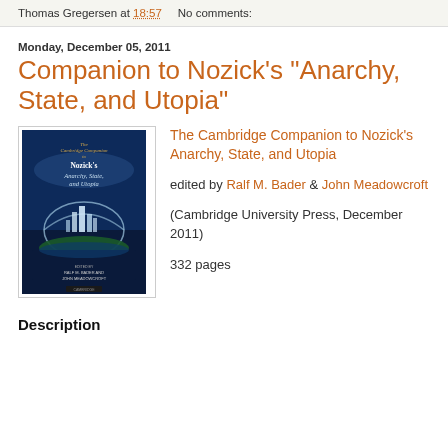Thomas Gregersen at 18:57    No comments:
Monday, December 05, 2011
Companion to Nozick's "Anarchy, State, and Utopia"
[Figure (photo): Book cover of The Cambridge Companion to Nozick's Anarchy, State, and Utopia, showing a dark blue cover with city under a glass dome on an island]
The Cambridge Companion to Nozick's Anarchy, State, and Utopia

edited by Ralf M. Bader & John Meadowcroft

(Cambridge University Press, December 2011)

332 pages
Description